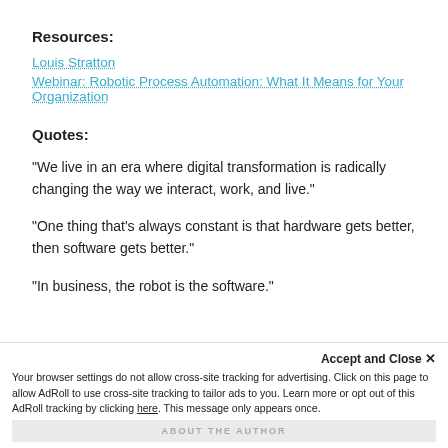Resources:
Louis Stratton
Webinar: Robotic Process Automation: What It Means for Your Organization
Quotes:
“We live in an era where digital transformation is radically changing the way we interact, work, and live.”
“One thing that’s always constant is that hardware gets better, then software gets better.”
“In business, the robot is the software.”
Accept and Close ×
Your browser settings do not allow cross-site tracking for advertising. Click on this page to allow AdRoll to use cross-site tracking to tailor ads to you. Learn more or opt out of this AdRoll tracking by clicking here. This message only appears once.
ABOUT THE AUTHOR